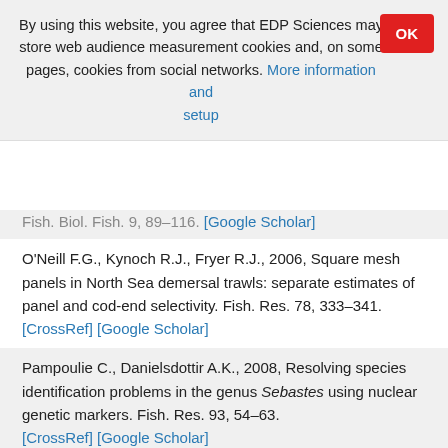By using this website, you agree that EDP Sciences may store web audience measurement cookies and, on some pages, cookies from social networks. More information and setup
Fish. Biol. Fish. 9, 89–116. [Google Scholar]
O'Neill F.G., Kynoch R.J., Fryer R.J., 2006, Square mesh panels in North Sea demersal trawls: separate estimates of panel and cod-end selectivity. Fish. Res. 78, 333–341. [CrossRef] [Google Scholar]
Pampoulie C., Danielsdottir A.K., 2008, Resolving species identification problems in the genus Sebastes using nuclear genetic markers. Fish. Res. 93, 54–63. [CrossRef] [Google Scholar]
Power D.J., Ni I.H., 1985, Morphometric differences between golden redfish (Sebastes marinus) and beaked